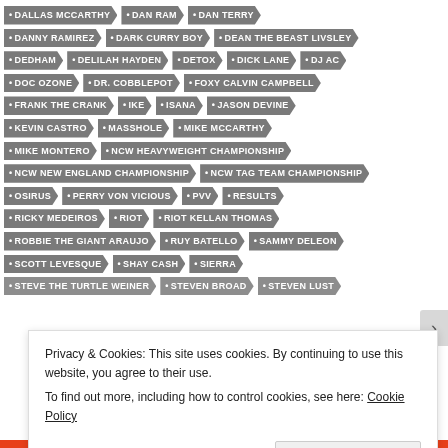DALLAS MCCARTHY
DAN RAM
DAN TERRY
DANNY RAMIREZ
DARK CURRY BOY
DEAN THE BEAST LIVSLEY
DEDHAM
DELILAH HAYDEN
DETOX
DICK LANE
DJ AC
DOC OZONE
DR. COBBLEPOT
FOXY CALVIN CAMPBELL
FRANK THE CRANK
IKE
ISANA
JASON DEVINE
KEVIN CASTRO
MASSHOLE
MIKE MCCARTHY
MIKE MONTERO
NCW HEAVYWEIGHT CHAMPIONSHIP
NCW NEW ENGLAND CHAMPIONSHIP
NCW TAG TEAM CHAMPIONSHIP
OSIRUS
PERRY VON VICIOUS
PVV
RESULTS
RICKY MEDEIROS
RIOT
RIOT KELLAN THOMAS
ROBBIE THE GIANT ARAUJO
RUY BATELLO
SAMMY DELEON
SCOTT LEVESQUE
SHAY CASH
SIERRA
STEVE THE TURTLE WEINER
STEVEN BROAD
STEVEN LUST
Privacy & Cookies: This site uses cookies. By continuing to use this website, you agree to their use. To find out more, including how to control cookies, see here: Cookie Policy